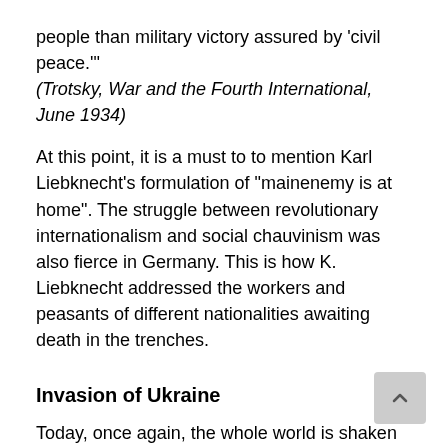people than military victory assured by 'civil peace.'"
(Trotsky, War and the Fourth International, June 1934)
At this point, it is a must to to mention Karl Liebknecht's formulation of "mainenemy is at home". The struggle between revolutionary internationalism and social chauvinism was also fierce in Germany. This is how K. Liebknecht addressed the workers and peasants of different nationalities awaiting death in the trenches.
Invasion of Ukraine
Today, once again, the whole world is shaken by the horrors of imperialist war. Moreover, the contentious security balance between the Great Powers, on which the world imperialist system stands, is deteriorated. The situation is so fragile that there is a possibility that imperialist wars will spread and turn into a world war. The